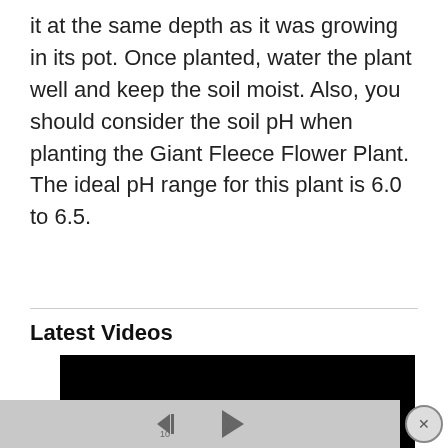it at the same depth as it was growing in its pot. Once planted, water the plant well and keep the soil moist. Also, you should consider the soil pH when planting the Giant Fleece Flower Plant. The ideal pH range for this plant is 6.0 to 6.5.
Latest Videos
[Figure (screenshot): A video player showing a black video frame with playback controls bar at bottom including a rewind 10 seconds button and a play button, and a close (X) button on the right.]